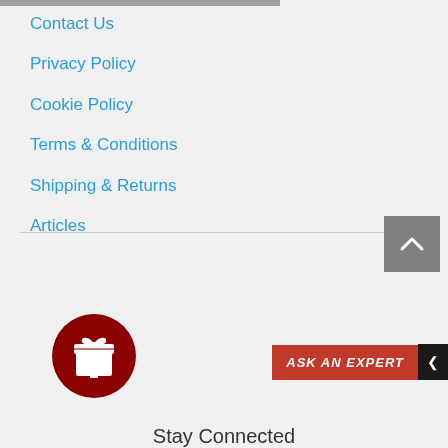Contact Us
Privacy Policy
Cookie Policy
Terms & Conditions
Shipping & Returns
Articles
[Figure (other): Scroll to top button - grey square with upward chevron arrow]
[Figure (other): Dark red circular gift icon button]
[Figure (other): Ask An Expert button in red with black arrow tab]
Stay Connected